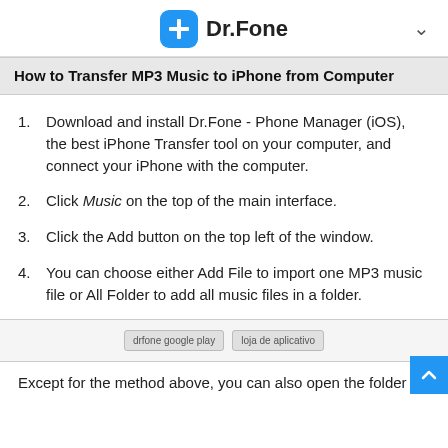Dr.Fone
How to Transfer MP3 Music to iPhone from Computer
Download and install Dr.Fone - Phone Manager (iOS), the best iPhone Transfer tool on your computer, and connect your iPhone with the computer.
Click Music on the top of the main interface.
Click the Add button on the top left of the window.
You can choose either Add File to import one MP3 music file or All Folder to add all music files in a folder.
[Figure (other): Two app store download badges: drfone google play and loja de aplicativo]
Except for the method above, you can also open the folder